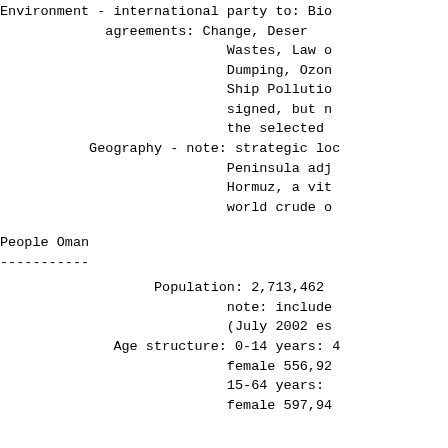Environment - international party to: Bio agreements: Change, Deser Wastes, Law o Dumping, Ozon Ship Pollutio signed, but n the selected
Geography - note: strategic loc Peninsula adj Hormuz, a vit world crude o
People Oman
-----------
Population: 2,713,462 note: include (July 2002 es
Age structure: 0-14 years: 4 female 556,92 15-64 years: female 597,94